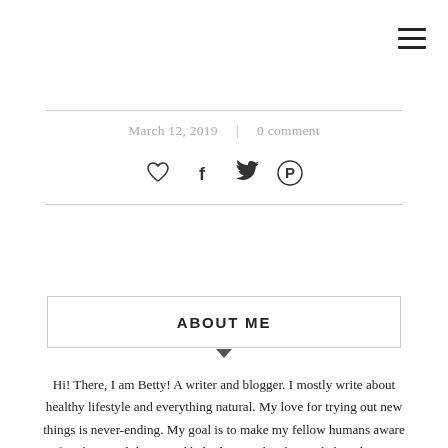≡ (hamburger menu icon)
March 12, 2019  |  0 comment
[Figure (other): Social sharing icons: heart (like), Facebook, Twitter, Pinterest]
ABOUT ME
Hi! There, I am Betty! A writer and blogger. I mostly write about healthy lifestyle and everything natural. My love for trying out new things is never-ending. My goal is to make my fellow humans aware of such natural things and help them in developing habits that can improve